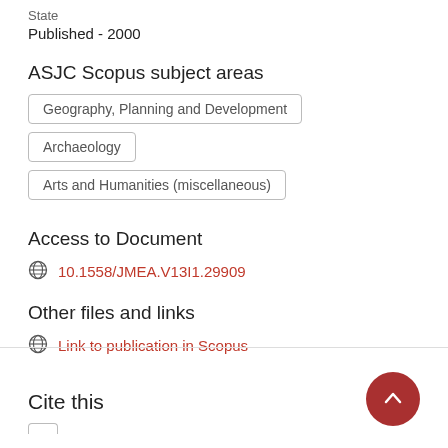State
Published - 2000
ASJC Scopus subject areas
Geography, Planning and Development
Archaeology
Arts and Humanities (miscellaneous)
Access to Document
10.1558/JMEA.V13I1.29909
Other files and links
Link to publication in Scopus
Cite this